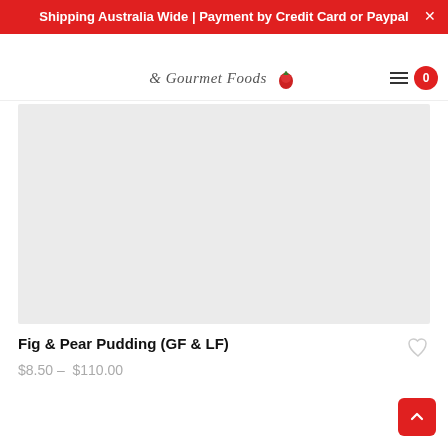Shipping Australia Wide | Payment by Credit Card or Paypal
[Figure (logo): Gourmet Foods script logo with red flower/strawberry graphic]
[Figure (photo): Product image placeholder (light grey rectangle) for Fig & Pear Pudding]
Fig & Pear Pudding (GF & LF)
$8.50 — $110.00